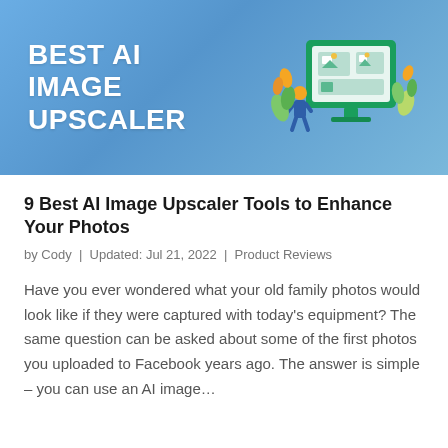[Figure (illustration): Banner image with blue gradient background, bold white text reading 'BEST AI IMAGE UPSCALER' on the left, and a colorful illustration of a computer monitor with image icons, a person, and decorative plants/leaves on the right.]
9 Best AI Image Upscaler Tools to Enhance Your Photos
by Cody | Updated: Jul 21, 2022 | Product Reviews
Have you ever wondered what your old family photos would look like if they were captured with today's equipment? The same question can be asked about some of the first photos you uploaded to Facebook years ago. The answer is simple – you can use an AI image…